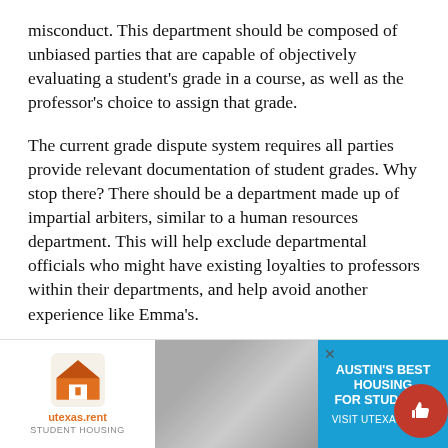misconduct. This department should be composed of unbiased parties that are capable of objectively evaluating a student's grade in a course, as well as the professor's choice to assign that grade.
The current grade dispute system requires all parties provide relevant documentation of student grades. Why stop there? There should be a department made up of impartial arbiters, similar to a human resources department. This will help exclude departmental officials who might have existing loyalties to professors within their departments, and help avoid another experience like Emma's.
Only through establishing this board can we guarantee students such as Emma safe and equita[ble treatment…]
[Figure (infographic): Advertisement banner for utexas.rent student housing. Left section: orange house icon with 'utexas.rent STUDENT HOUSING' text. Middle: photo of student with laptop. Right: blue background with 'AUSTIN'S BEST HOUSING FOR STUDENTS' and 'VISIT UTEXAS.RENT'. Far right: red circular thumbs-up button with X close button above.]